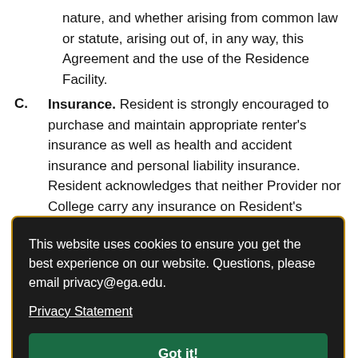nature, and whether arising from common law or statute, arising out of, in any way, this Agreement and the use of the Residence Facility.
C. Insurance. Resident is strongly encouraged to purchase and maintain appropriate renter's insurance as well as health and accident insurance and personal liability insurance. Resident acknowledges that neither Provider nor College carry any insurance on Resident's personal property and are not liable for lost, stolen, or da... Re...
[Figure (screenshot): Cookie consent banner overlay with dark background. Text reads: 'This website uses cookies to ensure you get the best experience on our website. Questions, please email privacy@ega.edu.' followed by a 'Privacy Statement' underlined link and a green 'Got it!' button.]
VIII. M...
A. Emergency Contact Information. Resident must...